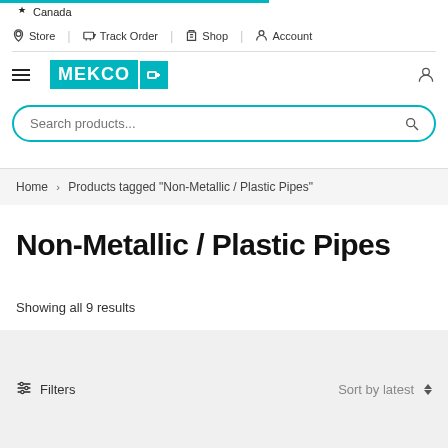Canada | Store | Track Order | Shop | Account
[Figure (logo): MEKCO logo with teal background and pipe icon]
Search products...
Home > Products tagged "Non-Metallic / Plastic Pipes"
Non-Metallic / Plastic Pipes
Showing all 9 results
Filters   Sort by latest